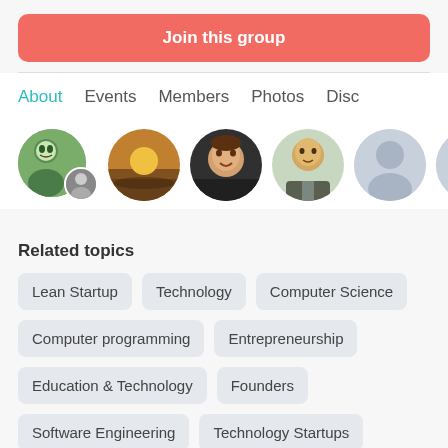Join this group
About  Events  Members  Photos  Disc
[Figure (photo): Row of circular member avatar photos]
Related topics
Lean Startup
Technology
Computer Science
Computer programming
Entrepreneurship
Education & Technology
Founders
Software Engineering
Technology Startups